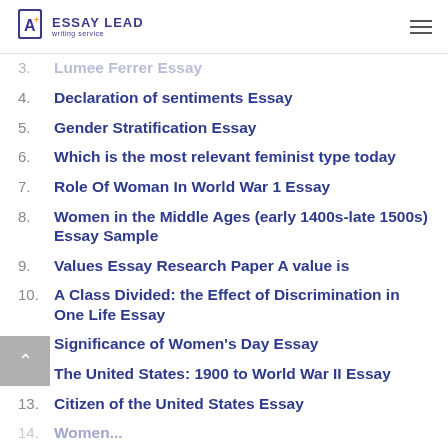ESSAY LEAD writing service
3. Lumee Ferrer Essay
4. Declaration of sentiments Essay
5. Gender Stratification Essay
6. Which is the most relevant feminist type today
7. Role Of Woman In World War 1 Essay
8. Women in the Middle Ages (early 1400s-late 1500s) Essay Sample
9. Values Essay Research Paper A value is
10. A Class Divided: the Effect of Discrimination in One Life Essay
11. Significance of Women's Day Essay
12. The United States: 1900 to World War II Essay
13. Citizen of the United States Essay
14. Women...